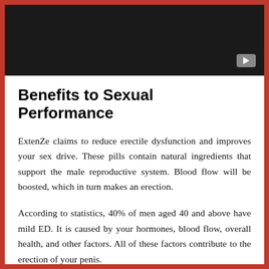[Figure (screenshot): Dark/black video player thumbnail with a YouTube-style play button in the lower right corner]
Benefits to Sexual Performance
ExtenZe claims to reduce erectile dysfunction and improves your sex drive. These pills contain natural ingredients that support the male reproductive system. Blood flow will be boosted, which in turn makes an erection.
According to statistics, 40% of men aged 40 and above have mild ED. It is caused by your hormones, blood flow, overall health, and other factors. All of these factors contribute to the erection of your penis.
The best results will be achieved by taking a low dose of the drug. ExtenZe has a variety of ingredients that work together in